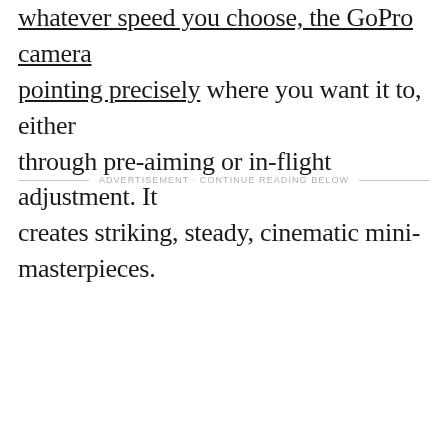whatever speed you choose, the GoPro camera pointing precisely where you want it to, either through pre-aiming or in-flight adjustment. It creates striking, steady, cinematic mini-masterpieces.
ADVERTISEMENT · CONTINUE READING BELOW